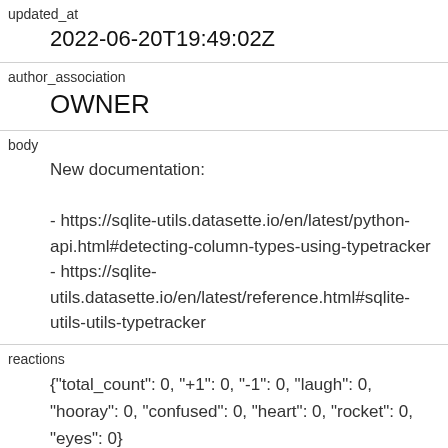| updated_at | 2022-06-20T19:49:02Z |
| author_association | OWNER |
| body | New documentation:

- https://sqlite-utils.datasette.io/en/latest/python-api.html#detecting-column-types-using-typetracker
- https://sqlite-utils.datasette.io/en/latest/reference.html#sqlite-utils-utils-typetracker |
| reactions | {"total_count": 0, "+1": 0, "-1": 0, "laugh": 0, "hooray": 0, "confused": 0, "heart": 0, "rocket": 0, "eyes": 0} |
| issue | `sqlite_utils.utils.TypeTracker` should be a documented API 1277295119 |
| performed_via_github_app |  |